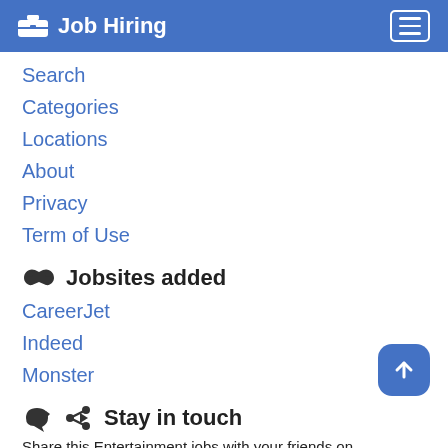Job Hiring
Search
Categories
Locations
About
Privacy
Term of Use
Jobsites added
CareerJet
Indeed
Monster
Stay in touch
Share this Entertainment jobs with your friends on your favorite social network
Our office